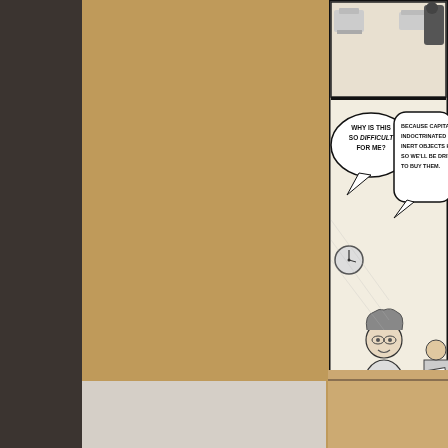[Figure (illustration): Partial view of a black-and-white comic strip panel. Top portion shows a scene with typewriters. Main panel shows a disheveled elderly man sitting and holding something, with speech bubbles. Left bubble reads: 'WHY IS THIS SO DIFFICULT FOR ME?' Right bubble reads: 'BECAUSE CAPITALISM HAS INDOCTRINATED US TO BELIEVE INERT OBJECTS HAVE INHERENT VALUE, SO WE'LL BE DRIVEN TO BUY THEM.' Another figure is visible on the right reading something. The art style is detailed pen-and-ink Victorian/historical style.]
#1132; My Everything Collection
Permalink to this comic: https://wondermark.co
June 9th, 2015
Tags: commerce,
BULLETINS.
MISS